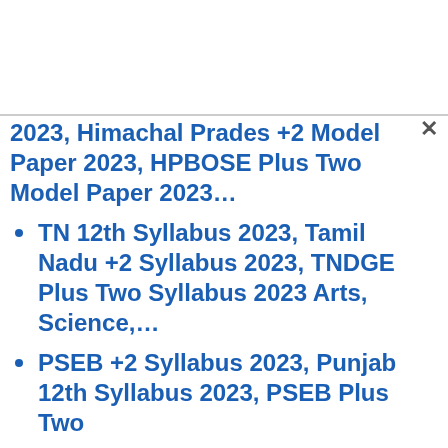2023, Himachal Prades +2 Model Paper 2023, HPBOSE Plus Two Model Paper 2023...
TN 12th Syllabus 2023, Tamil Nadu +2 Syllabus 2023, TNDGE Plus Two Syllabus 2023 Arts, Science,...
PSEB +2 Syllabus 2023, Punjab 12th Syllabus 2023, PSEB Plus Two